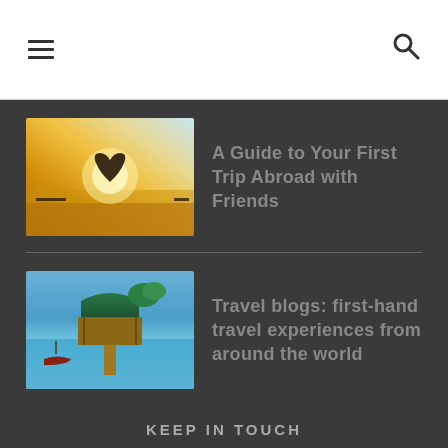☰  🔍
[Figure (photo): Beach sunset with two people forming a heart shape silhouette]
A Guide to Your First Trip Abroad with Friends
[Figure (photo): Overwater bungalow/dock with a boat on turquoise tropical water]
Travel blogs: first-hand travel experiences from around the world
KEEP IN TOUCH
FACEBOOK
TWITTER
GOOGLE +
INSTAGRAM